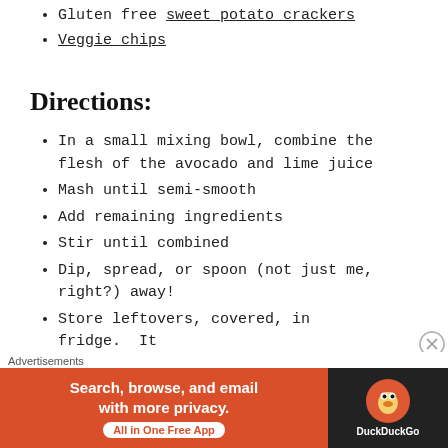Gluten free sweet potato crackers
Veggie chips
Directions:
In a small mixing bowl, combine the flesh of the avocado and lime juice
Mash until semi-smooth
Add remaining ingredients
Stir until combined
Dip, spread, or spoon (not just me, right?) away!
Store leftovers, covered, in fridge. It will turn a little brown due to
Advertisements
[Figure (other): DuckDuckGo advertisement banner: Search, browse, and email with more privacy. All in One Free App]